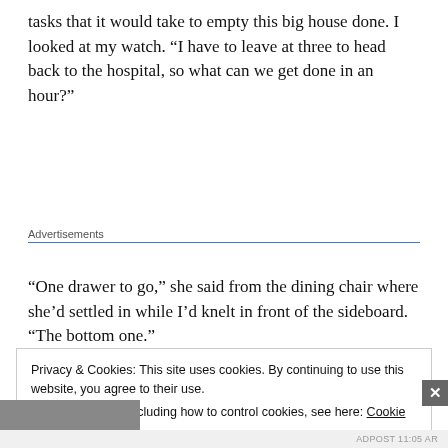tasks that it would take to empty this big house done. I looked at my watch. “I have to leave at three to head back to the hospital, so what can we get done in an hour?”
Advertisements
“One drawer to go,” she said from the dining chair where she’d settled in while I’d knelt in front of the sideboard. “The bottom one.”
Privacy & Cookies: This site uses cookies. By continuing to use this website, you agree to their use.
To find out more, including how to control cookies, see here: Cookie Policy
Close and accept